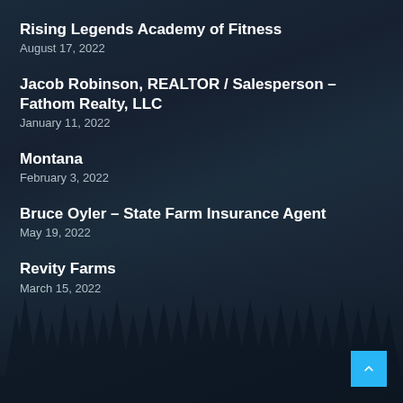Rising Legends Academy of Fitness
August 17, 2022
Jacob Robinson, REALTOR / Salesperson – Fathom Realty, LLC
January 11, 2022
Montana
February 3, 2022
Bruce Oyler – State Farm Insurance Agent
May 19, 2022
Revity Farms
March 15, 2022